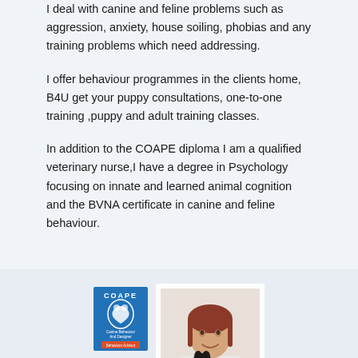I deal with canine and feline problems such as aggression, anxiety, house soiling, phobias and any training problems which need addressing.
I offer behaviour programmes in the clients home, B4U get your puppy consultations, one-to-one training ,puppy and adult training classes.
In addition to the COAPE diploma I am a qualified veterinary nurse,I have a degree in Psychology focusing on innate and learned animal cognition and the BVNA certificate in canine and feline behaviour.
[Figure (logo): COAPE logo — blue square with heart/paw graphic and text 'COAPE', 'Canine Behaviour And Designer', 'Behaviour Advisor']
[Figure (photo): Photo of a smiling red-haired woman in a white top holding a small black French Bulldog puppy, framed with a white border]